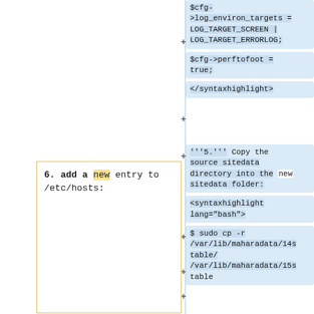$cfg->
>log_environ_targets = LOG_TARGET_SCREEN | LOG_TARGET_ERRORLOG;
$cfg->perftofoot = true;
</syntaxhighlight>
6. add a new entry to /etc/hosts:
'''5.''' Copy the source sitedata directory into the new sitedata folder:
<syntaxhighlight lang="bash">
$ sudo cp -r /var/lib/maharadata/14stable/ /var/lib/maharadata/15stable